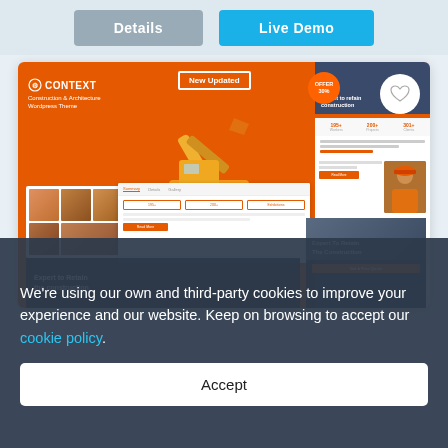[Figure (screenshot): Top navigation bar with Details and Live Demo buttons on light blue-grey background]
[Figure (screenshot): Construction & Architecture WordPress theme called CONTEXT with orange background, excavator image, worker photos, multiple page layout previews, and 'New Updated' badge]
We're using our own and third-party cookies to improve your experience and our website. Keep on browsing to accept our cookie policy.
Accept